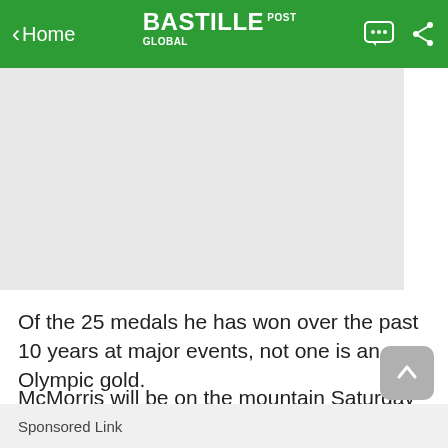< Home  BASTILLE POST GLOBAL
[Figure (other): Gray advertisement placeholder banner]
Of the 25 medals he has won over the past 10 years at major events, not one is an Olympic gold.
McMorris will be on the mountain Saturday for the slopestyle and big air contests, where he'll be going for his 10th and 11th gold medals at the Winter X Games. Next month, he'll get two more chances to win his first Olympic title in those same events at the Beijing Games.
Sponsored Link